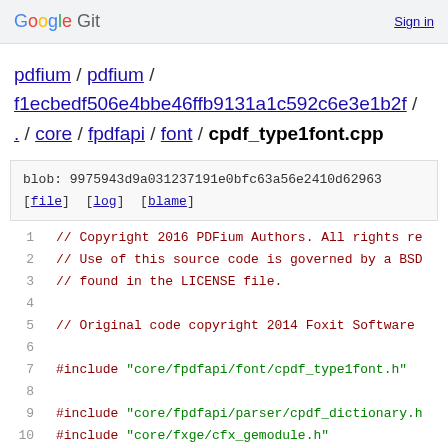Google Git   Sign in
pdfium / pdfium / f1ecbedf506e4bbe46ffb9131a1c592c6e3e1b2f / . / core / fpdfapi / font / cpdf_type1font.cpp
blob: 9975943d9a031237191e0bfc63a56e2410d62963
[file] [log] [blame]
1  // Copyright 2016 PDFium Authors. All rights res
2  // Use of this source code is governed by a BSD-
3  // found in the LICENSE file.
4
5  // Original code copyright 2014 Foxit Software I
6
7  #include "core/fpdfapi/font/cpdf_type1font.h"
8
9  #include "core/fpdfapi/parser/cpdf_dictionary.h
10 #include "core/fxge/cfx_gemodule.h"